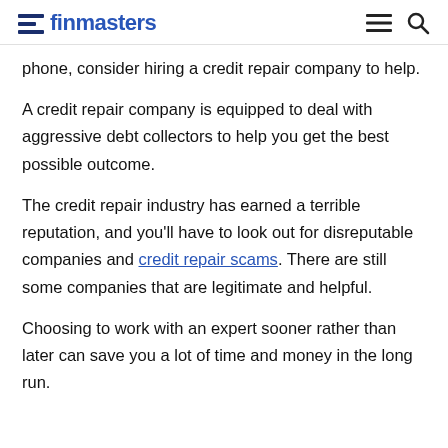finmasters
phone, consider hiring a credit repair company to help.
A credit repair company is equipped to deal with aggressive debt collectors to help you get the best possible outcome.
The credit repair industry has earned a terrible reputation, and you’ll have to look out for disreputable companies and credit repair scams. There are still some companies that are legitimate and helpful.
Choosing to work with an expert sooner rather than later can save you a lot of time and money in the long run.